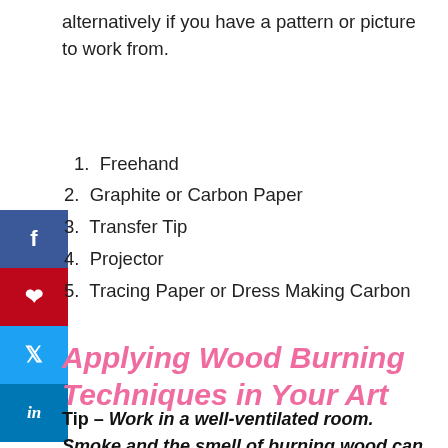alternatively if you have a pattern or picture to work from.
1. Freehand
2. Graphite or Carbon Paper
3. Transfer Tip
4. Projector
5. Tracing Paper or Dress Making Carbon
Applying Wood Burning Techniques in Your Art
Tip – Work in a well-ventilated room. Smoke and the smell of burning wood can become